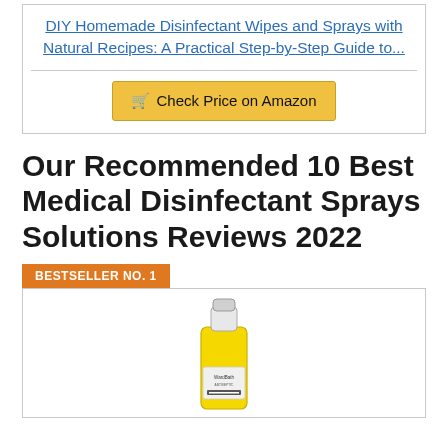DIY Homemade Disinfectant Wipes and Sprays with Natural Recipes: A Practical Step-by-Step Guide to...
Check Price on Amazon
Our Recommended 10 Best Medical Disinfectant Sprays Solutions Reviews 2022
BESTSELLER NO. 1
[Figure (photo): Yellow gallon jug of WardBath disinfectant solution product]